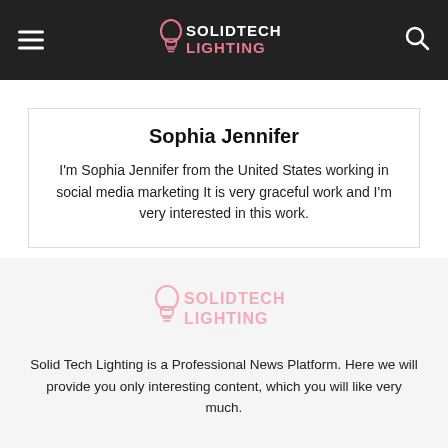SOLIDTECH LIGHTING
Sophia Jennifer
I'm Sophia Jennifer from the United States working in social media marketing It is very graceful work and I'm very interested in this work.
[Figure (logo): SolidTech Lighting logo in light pink/rose color with a light bulb icon and the text SOLIDTECH LIGHTING]
Solid Tech Lighting is a Professional News Platform. Here we will provide you only interesting content, which you will like very much.